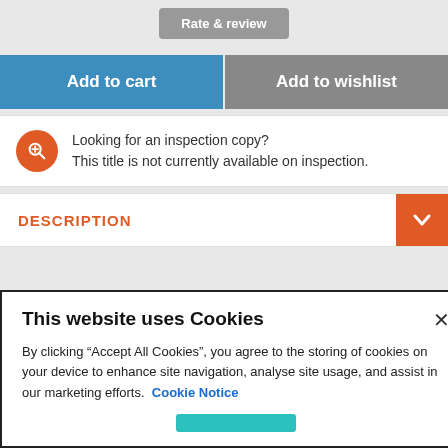[Figure (screenshot): Rate & review button (grey rounded button)]
Add to cart
Add to wishlist
Looking for an inspection copy?
This title is not currently available on inspection.
DESCRIPTION
This website uses Cookies
By clicking “Accept All Cookies”, you agree to the storing of cookies on your device to enhance site navigation, analyse site usage, and assist in our marketing efforts.  Cookie Notice